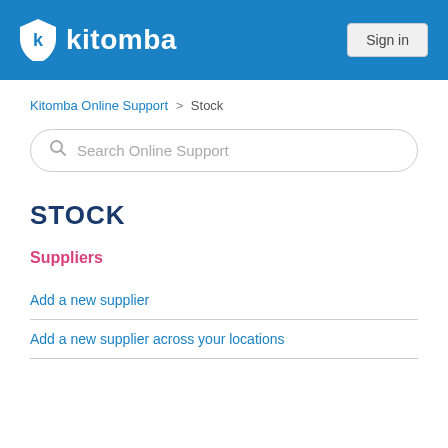kitomba  Sign in
Kitomba Online Support > Stock
Search Online Support
STOCK
Suppliers
Add a new supplier
Add a new supplier across your locations